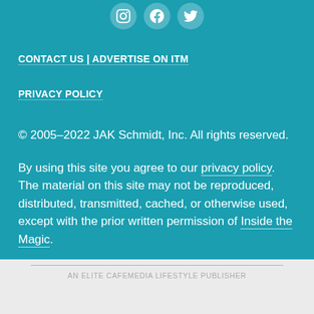[Figure (illustration): Three circular social media icon buttons (Instagram, Facebook, Twitter) with white icons on semi-transparent teal circles]
CONTACT US | ADVERTISE ON ITM
PRIVACY POLICY
© 2005–2022 JAK Schmidt, Inc. All rights reserved.
By using this site you agree to our privacy policy. The material on this site may not be reproduced, distributed, transmitted, cached, or otherwise used, except with the prior written permission of Inside the Magic.
AN ELITE CAFEMEDIA LIFESTYLE PUBLISHER